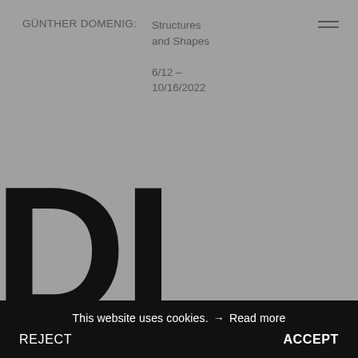GÜNTHER DOMENIG:
Structures and Shapes

6/12 – 10/16/2022
DI ME
This website uses cookies. → Read more
REJECT
ACCEPT